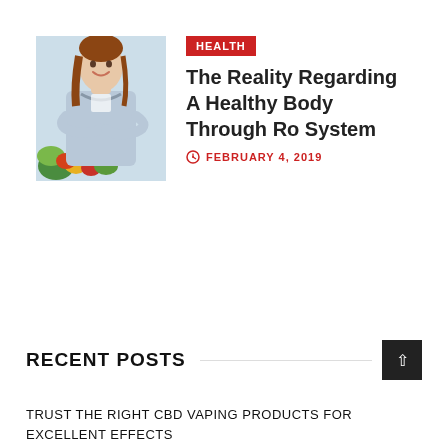[Figure (photo): Woman with arms crossed smiling, vegetables in the foreground, light blue background]
HEALTH
The Reality Regarding A Healthy Body Through Ro System
FEBRUARY 4, 2019
Search ...
RECENT POSTS
TRUST THE RIGHT CBD VAPING PRODUCTS FOR EXCELLENT EFFECTS